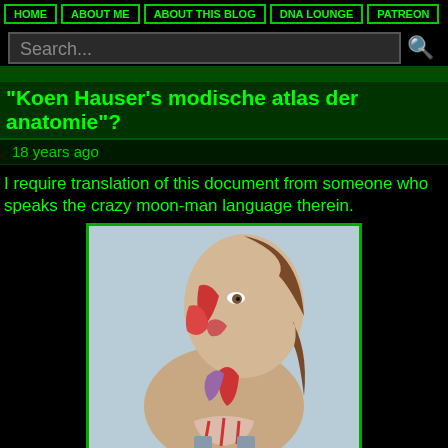HOME | ABOUT ME | ABOUT THIS BLOG | DNA LOUNGE | PATREON
"Koen Hauser's modische atlas der anatomie"?
18 years ago
I require translation of this document from someone who speaks the crazy moon-man language therein.
[Figure (photo): Anatomical illustration of a woman with the facial skin and neck muscles, arteries, and internal structures exposed, shown in a profile/three-quarter view against a light blue background. The figure wears a gray tank top.]